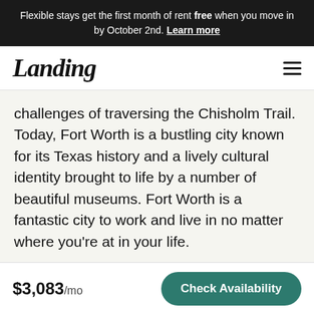Flexible stays get the first month of rent free when you move in by October 2nd. Learn more
Landing
challenges of traversing the Chisholm Trail. Today, Fort Worth is a bustling city known for its Texas history and a lively cultural identity brought to life by a number of beautiful museums. Fort Worth is a fantastic city to work and live in no matter where you’re at in your life.
$3,083/mo
Check Availability